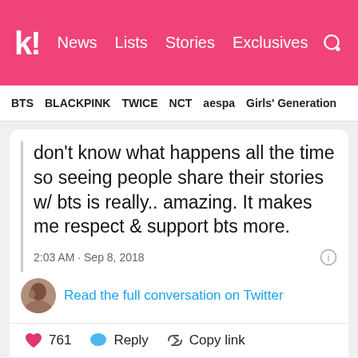Koreaboo — News | Lists | Stories | Exclusives
BTS | BLACKPINK | TWICE | NCT | aespa | Girls' Generation
don't know what happens all the time so seeing people share their stories w/ bts is really.. amazing. It makes me respect & support bts more.
2:03 AM · Sep 8, 2018
Read the full conversation on Twitter
761  Reply  Copy link
Read 7 replies